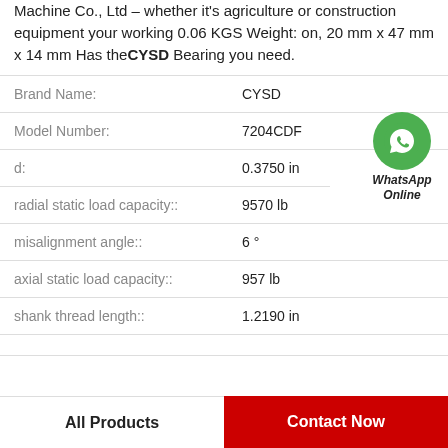Machine Co., Ltd – whether it's agriculture or construction equipment your working 0.06 KGS Weight: on, 20 mm x 47 mm x 14 mm Has theCYSD Bearing you need.
| Property | Value |
| --- | --- |
| Brand Name: | CYSD |
| Model Number: | 7204CDF |
| d: | 0.3750 in |
| radial static load capacity:: | 9570 lb |
| misalignment angle:: | 6 ° |
| axial static load capacity:: | 957 lb |
| shank thread length:: | 1.2190 in |
| (partial row) | (partial value) |
[Figure (logo): WhatsApp Online green circle icon with phone handset, labeled WhatsApp Online in italic bold text]
All Products
Contact Now